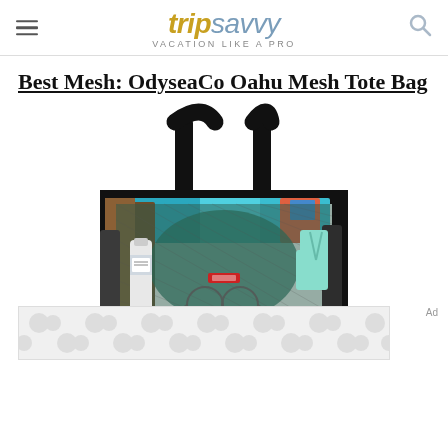tripsavvy VACATION LIKE A PRO
Best Mesh: OdyseaCo Oahu Mesh Tote Bag
[Figure (photo): OdyseaCo Oahu Mesh Tote Bag filled with beach items including towels, sunscreen, flip flops, and sunglasses, shown against a white background]
Ad